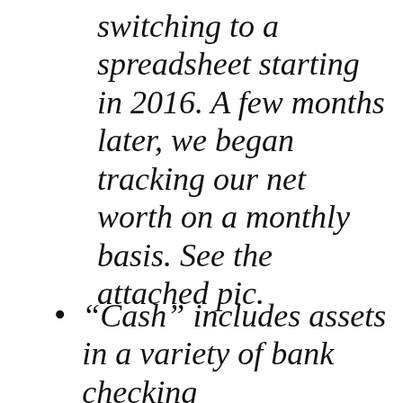switching to a spreadsheet starting in 2016. A few months later, we began tracking our net worth on a monthly basis. See the attached pic.
“Cash” includes assets in a variety of bank checking